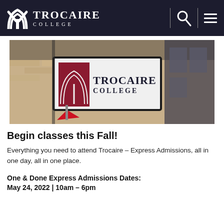Trocaire College
[Figure (photo): Exterior photo of Trocaire College building showing a large illuminated sign with the college logo and name, brick facade, and a red pennant flag]
Begin classes this Fall!
Everything you need to attend Trocaire – Express Admissions, all in one day, all in one place.
One & Done Express Admissions Dates:
May 24, 2022 | 10am – 6pm